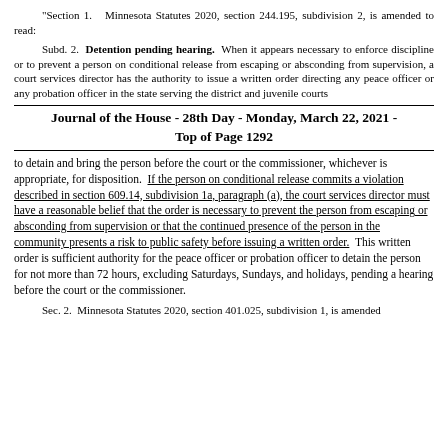"Section 1. Minnesota Statutes 2020, section 244.195, subdivision 2, is amended to read:
Subd. 2. Detention pending hearing. When it appears necessary to enforce discipline or to prevent a person on conditional release from escaping or absconding from supervision, a court services director has the authority to issue a written order directing any peace officer or any probation officer in the state serving the district and juvenile courts
Journal of the House - 28th Day - Monday, March 22, 2021 - Top of Page 1292
to detain and bring the person before the court or the commissioner, whichever is appropriate, for disposition. If the person on conditional release commits a violation described in section 609.14, subdivision 1a, paragraph (a), the court services director must have a reasonable belief that the order is necessary to prevent the person from escaping or absconding from supervision or that the continued presence of the person in the community presents a risk to public safety before issuing a written order. This written order is sufficient authority for the peace officer or probation officer to detain the person for not more than 72 hours, excluding Saturdays, Sundays, and holidays, pending a hearing before the court or the commissioner.
Sec. 2. Minnesota Statutes 2020, section 401.025, subdivision 1, is amended